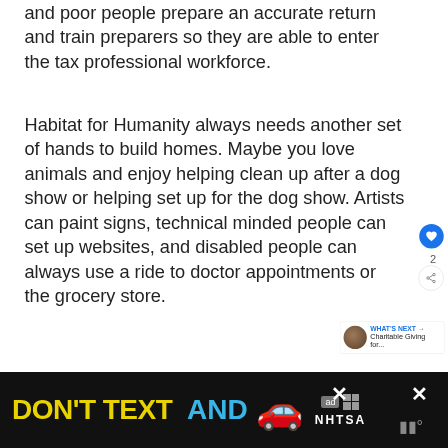and poor people prepare an accurate return and train preparers so they are able to enter the tax professional workforce.
Habitat for Humanity always needs another set of hands to build homes. Maybe you love animals and enjoy helping clean up after a dog show or helping set up for the dog show. Artists can paint signs, technical minded people can set up websites, and disabled people can always use a ride to doctor appointments or the grocery store.
[Figure (screenshot): Social interaction buttons: heart/like button (blue circle with heart icon), like count '2', and share button (circle with share icon)]
[Figure (screenshot): WHAT'S NEXT widget with thumbnail photo and text 'Charitable Giving for...']
[Figure (screenshot): Advertisement banner: black background with yellow text 'DON'T TEXT' and cyan text 'AND', red car emoji, ad label, NHTSA logo, close button X, and mute icon]